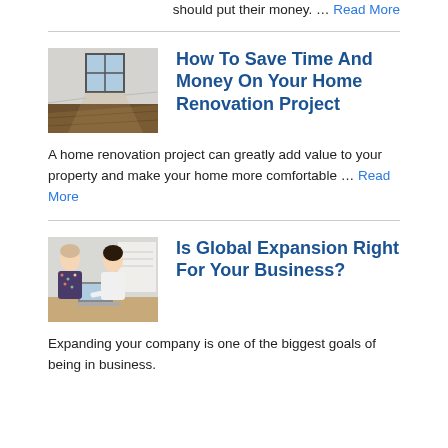should put their money. … Read More
[Figure (photo): Empty room with hardwood floor and large window]
How To Save Time And Money On Your Home Renovation Project
A home renovation project can greatly add value to your property and make your home more comfortable … Read More
[Figure (photo): Two businesswomen looking at a laptop together]
Is Global Expansion Right For Your Business?
Expanding your company is one of the biggest goals of being in business. Read More